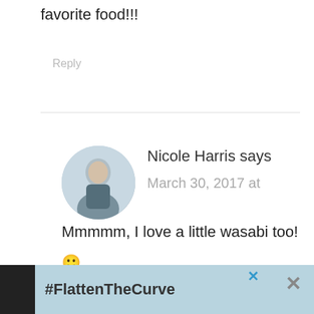favorite food!!!
Reply
Nicole Harris says
March 30, 2017 at
[Figure (photo): Circular avatar photo of Nicole Harris]
Mmmmm, I love a little wasabi too!
🙂
Reply
[Figure (infographic): Advertisement banner: #FlattenTheCurve with handwashing image, close (x) button]